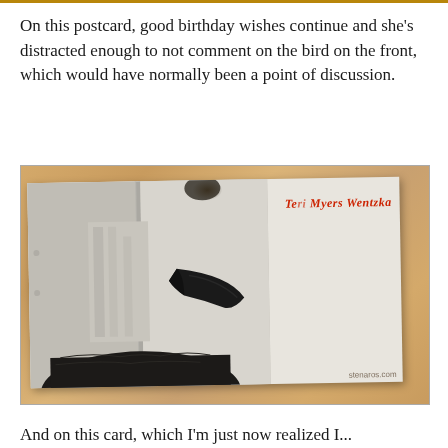On this postcard, good birthday wishes continue and she's distracted enough to not comment on the bird on the front, which would have normally been a point of discussion.
[Figure (photo): A photograph of a postcard lying on a wooden table. The postcard shows a close-up image of a large black bird (possibly a raven or crow) with a prominent dark beak, showing only the neck and beak area. The text 'Teri Myers Wentzka' appears in red italic on the postcard. The watermark 'stenaros.com' appears in the lower right corner of the photo.]
And on this card, which I'm just now realized I...